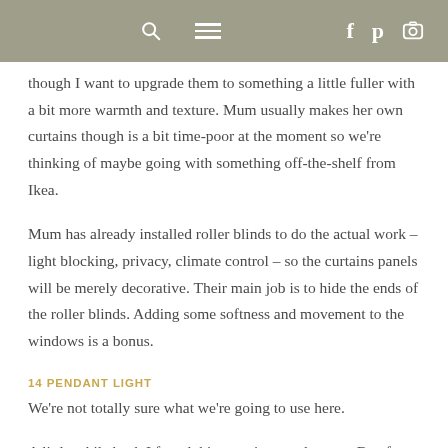[navigation bar with search, menu, and social icons]
though I want to upgrade them to something a little fuller with a bit more warmth and texture. Mum usually makes her own curtains though is a bit time-poor at the moment so we're thinking of maybe going with something off-the-shelf from Ikea.
Mum has already installed roller blinds to do the actual work – light blocking, privacy, climate control – so the curtains panels will be merely decorative. Their main job is to hide the ends of the roller blinds. Adding some softness and movement to the windows is a bonus.
14 PENDANT LIGHT
We're not totally sure what we're going to use here.
A little while back I found this amazing pendant on eBay for just $40.